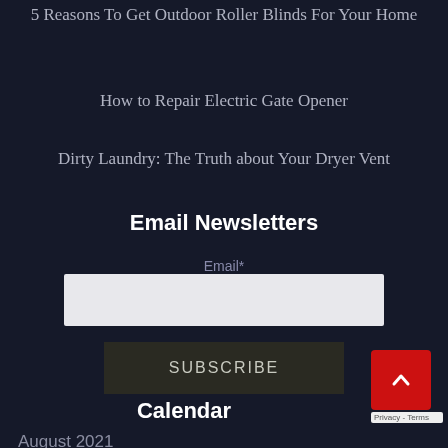5 Reasons To Get Outdoor Roller Blinds For Your Home
How to Repair Electric Gate Opener
Dirty Laundry: The Truth about Your Dryer Vent
Email Newsletters
Email*
Calendar
August 2021